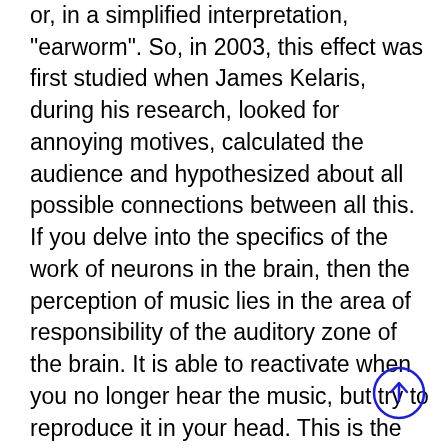or, in a simplified interpretation, "earworm". So, in 2003, this effect was first studied when James Kelaris, during his research, looked for annoying motives, calculated the audience and hypothesized about all possible connections between all this. If you delve into the specifics of the work of neurons in the brain, then the perception of music lies in the area of responsibility of the auditory zone of the brain. It is able to reactivate when you no longer hear the music, but try to reproduce it in your head. This is the same obsessive song syndrome. Neuropsychologists have put forward a lot of hypotheses about this. For example, you remember those songs that you sincerely like or have sympathy for the performer. But what to do when a melody gets stuck in your head and getting rid of it is an urgent need? There is a way out: read the songs. Psychologists offer a lot of options for getting rid of the obsessive motive in your head. You can switch to another song. But this does not mean that the new song will not stay in my head
[Figure (other): Blue circle with upward arrow, functioning as a scroll-to-top navigation button, located at bottom right of the page.]